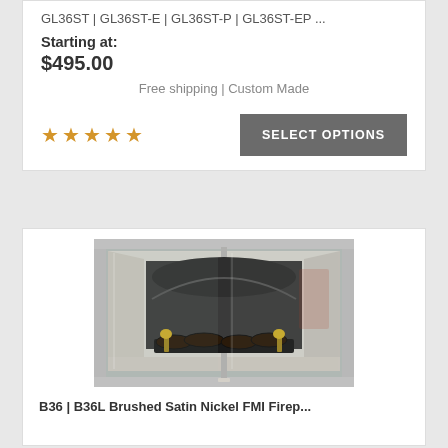GL36ST | GL36ST-E | GL36ST-P | GL36ST-EP ...
Starting at:
$495.00
Free shipping | Custom Made
[Figure (other): Five gold/yellow star rating icons]
SELECT OPTIONS
[Figure (photo): Fireplace door with brushed satin nickel frame, glass panels, showing interior with decorative log set and fireplace tools]
B36 | B36L Brushed Satin Nickel FMI Firep...